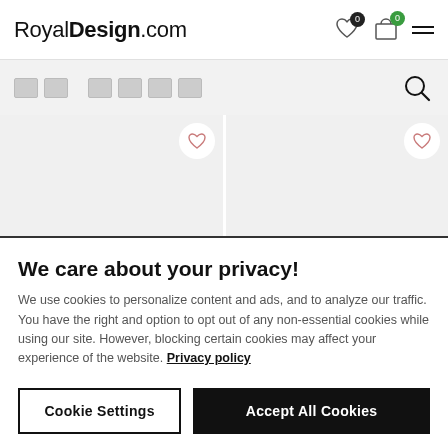RoyalDesign.com
[Figure (screenshot): Search bar with placeholder blocks and magnifying glass icon]
CALVIN KLEIN HOME
Sculpted Bath Towel 76x142
CALVIN KLEIN HOME
Sculpted Bath Towel 76x142
We care about your privacy!
We use cookies to personalize content and ads, and to analyze our traffic. You have the right and option to opt out of any non-essential cookies while using our site. However, blocking certain cookies may affect your experience of the website. Privacy policy
Cookie Settings
Accept All Cookies